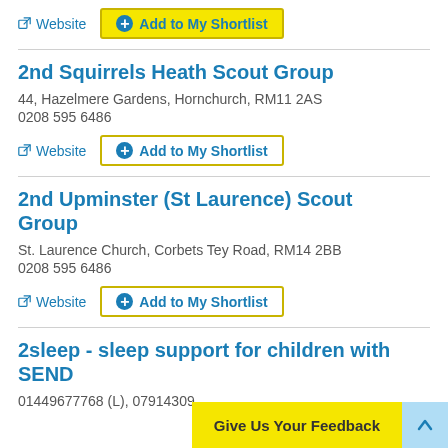Website | Add to My Shortlist
2nd Squirrels Heath Scout Group
44, Hazelmere Gardens, Hornchurch, RM11 2AS
0208 595 6486
Website | Add to My Shortlist
2nd Upminster (St Laurence) Scout Group
St. Laurence Church, Corbets Tey Road, RM14 2BB
0208 595 6486
Website | Add to My Shortlist
2sleep - sleep support for children with SEND
01449677768 (L), 07914309...
Give Us Your Feedback